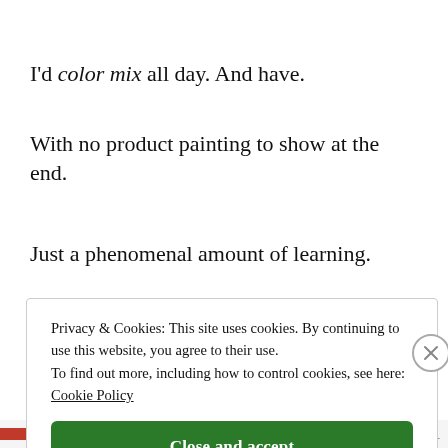I'd color mix all day. And have.
With no product painting to show at the end.
Just a phenomenal amount of learning.
Privacy & Cookies: This site uses cookies. By continuing to use this website, you agree to their use. To find out more, including how to control cookies, see here: Cookie Policy
Close and accept